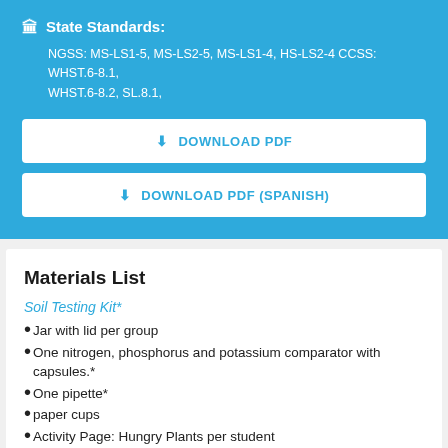State Standards:
NGSS: MS-LS1-5, MS-LS2-5, MS-LS1-4, HS-LS2-4 CCSS: WHST.6-8.1, WHST.6-8.2, SL.8.1,
DOWNLOAD PDF
DOWNLOAD PDF (SPANISH)
Materials List
Soil Testing Kit*
Jar with lid per group
One nitrogen, phosphorus and potassium comparator with capsules.*
One pipette*
paper cups
Activity Page: Hungry Plants per student
Plant Nutrients Background Reading Page per